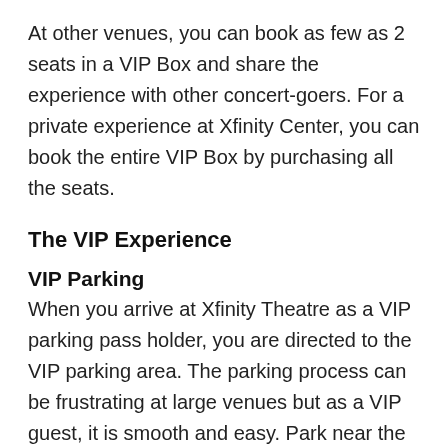At other venues, you can book as few as 2 seats in a VIP Box and share the experience with other concert-goers. For a private experience at Xfinity Center, you can book the entire VIP Box by purchasing all the seats.
The VIP Experience
VIP Parking
When you arrive at Xfinity Theatre as a VIP parking pass holder, you are directed to the VIP parking area. The parking process can be frustrating at large venues but as a VIP guest, it is smooth and easy. Park near the VIP entrance and skip the long lines to get inside Xfinity Theatre. Go straight to your box seats or hang out in the VIP lounge. Everything is designed to allow you to have a fun and relaxing night with no stress and